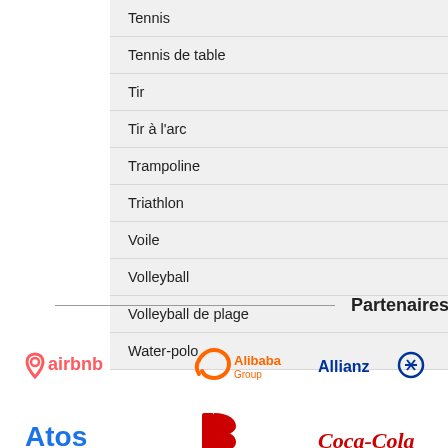Tennis
Tennis de table
Tir
Tir à l'arc
Trampoline
Triathlon
Voile
Volleyball
Volleyball de plage
Water-polo
Partenaires Mondiaux
[Figure (logo): Airbnb logo]
[Figure (logo): Alibaba Group logo]
[Figure (logo): Allianz logo]
[Figure (logo): Atos logo (partial)]
[Figure (logo): Bridgestone logo (partial)]
[Figure (logo): Coca-Cola logo (partial)]